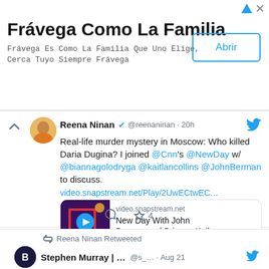[Figure (screenshot): Advertisement banner for Frávega Como La Familia with Abrir button]
Frávega Como La Familia
Frávega Es Como La Familia Que Uno Elige, Cerca Tuyo Siempre Frávega
Reena Ninan @reenaninan · 20h — Real-life murder mystery in Moscow: Who killed Daria Dugina? I joined @Cnn's @NewDay w/ @biannagolodryga @kaitlancollins @JohnBerman to discuss. video.snapstream.net/Play/2UwECtwEC... — New Day With John Berman and Brianna Keil...
Reena Ninan Retweeted — Stephen Murray | ... @s_... · Aug 21